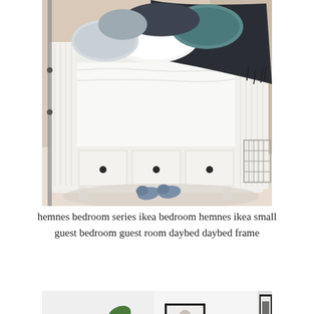[Figure (photo): A white IKEA HEMNES daybed with three storage drawers underneath, styled with white bedding, dark grey throw blanket, blue and grey pillows. Blue slippers sit on a light grey rug in front of the bed. A wire basket side table is visible on the right.]
hemnes bedroom series ikea bedroom hemnes ikea small guest bedroom guest room daybed daybed frame
[Figure (photo): A minimal white bedroom with a green plant, framed artwork on the wall, and a framed picture on the floor. Partially visible framed vertical artwork on the right.]